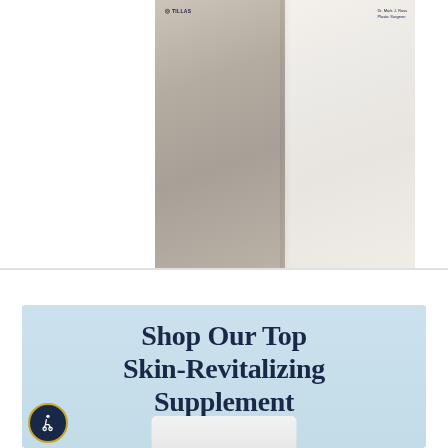[Figure (photo): Two people in medical/lab coats, cropped to show torsos and lower faces. Left person wears a beige/tan coat with embroidered logo text. Right person wears a white coat with name badge text visible.]
[Figure (infographic): Light blue promotional banner reading 'Shop Our Top Skin-Revitalizing Supplement' in dark navy bold serif text, with a white product container visible at the bottom edge.]